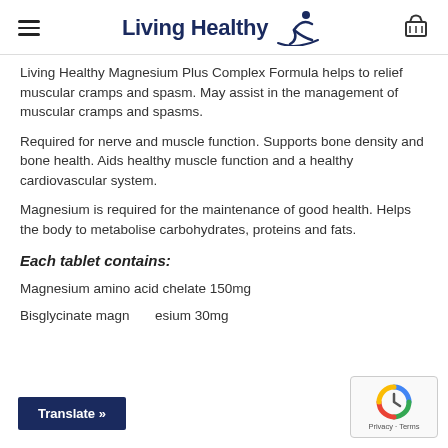Living Healthy
Living Healthy Magnesium Plus Complex Formula helps to relief muscular cramps and spasm. May assist in the management of muscular cramps and spasms.
Required for nerve and muscle function. Supports bone density and bone health. Aids healthy muscle function and a healthy cardiovascular system.
Magnesium is required for the maintenance of good health. Helps the body to metabolise carbohydrates, proteins and fats.
Each tablet contains:
Magnesium amino acid chelate 150mg
Bisglycinate magnesium 30mg